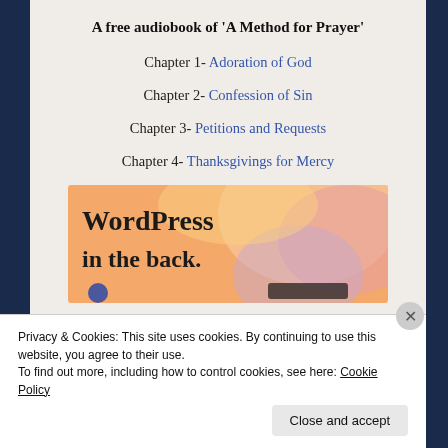A free audiobook of 'A Method for Prayer'
Chapter 1- Adoration of God
Chapter 2- Confession of Sin
Chapter 3- Petitions and Requests
Chapter 4- Thanksgivings for Mercy
[Figure (screenshot): WordPress advertisement banner with text 'WordPress in the back.' on a pastel orange and pink gradient background]
Privacy & Cookies: This site uses cookies. By continuing to use this website, you agree to their use.
To find out more, including how to control cookies, see here: Cookie Policy
Close and accept